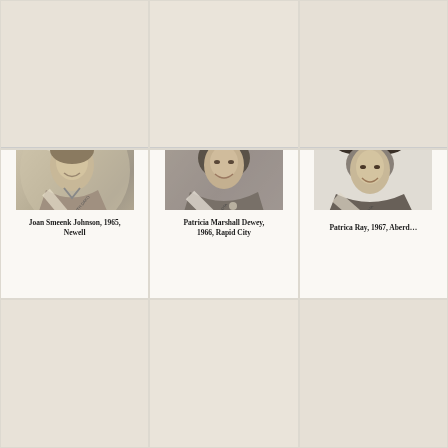[Figure (photo): Top row left cell - partial/cropped photo, sepia toned portrait]
[Figure (photo): Top row center cell - partial/cropped photo, sepia toned portrait]
[Figure (photo): Top row right cell - partial/cropped photo, sepia toned portrait]
[Figure (photo): Black and white portrait photo of Joan Smeenk Johnson wearing cowboy hat and Miss South Dakota sash, 1965]
Joan Smeenk Johnson, 1965, Newell
[Figure (photo): Black and white portrait photo of Patricia Marshall Dewey wearing white cowboy hat and Miss South Dakota sash, 1966, with caption on photo reading 'Patricia Marshall Dewey, 1966']
Patricia Marshall Dewey, 1966, Rapid City
[Figure (photo): Black and white portrait photo of Patrica Ray wearing dark cowboy hat and Miss South Dakota sash, 1967, partially cropped on right]
Patrica Ray, 1967, Aberdeen (partially cropped)
[Figure (photo): Bottom row left cell - partial/cropped photo]
[Figure (photo): Bottom row center cell - partial/cropped photo]
[Figure (photo): Bottom row right cell - partial/cropped photo]